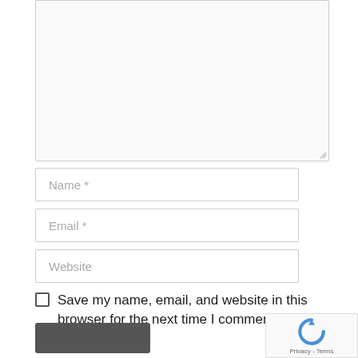[Figure (screenshot): Comment textarea input box (empty, resizable)]
Name *
Email *
Website
Save my name, email, and website in this browser for the next time I comment.
[Figure (screenshot): Submit button (dark grey, unlabeled at bottom)]
[Figure (screenshot): reCAPTCHA badge with logo and Privacy - Terms text]